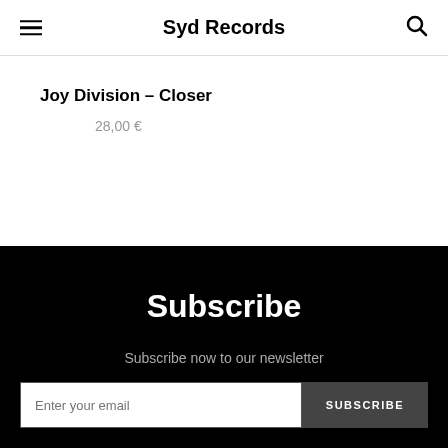Syd Records
Joy Division – Closer
28,00 €
Subscribe
Subscribe now to our newsletter
Enter your email  SUBSCRIBE